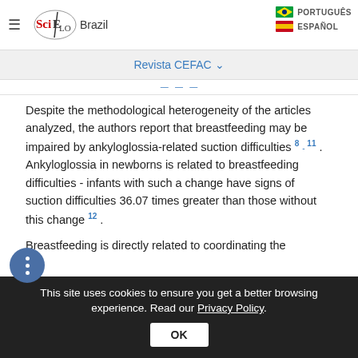SciELO Brazil | PORTUGUÊS | ESPAÑOL
Revista CEFAC
Despite the methodological heterogeneity of the articles analyzed, the authors report that breastfeeding may be impaired by ankyloglossia-related suction difficulties 8 - 11 . Ankyloglossia in newborns is related to breastfeeding difficulties - infants with such a change have signs of suction difficulties 36.07 times greater than those without this change 12 .
Breastfeeding is directly related to coordinating the
This site uses cookies to ensure you get a better browsing experience. Read our Privacy Policy.